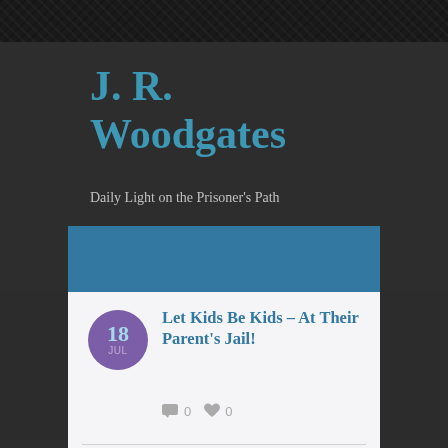J. R. Woodgates
Daily Light on the Prisoner's Path
Let Kids Be Kids – At Their Parent's Jail!
18 JUL  0  0